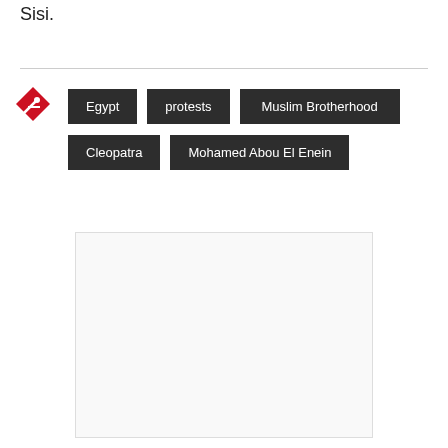Sisi.
Egypt
protests
Muslim Brotherhood
Cleopatra
Mohamed Abou El Enein
[Figure (other): Empty white rectangle with border, likely an advertisement placeholder]